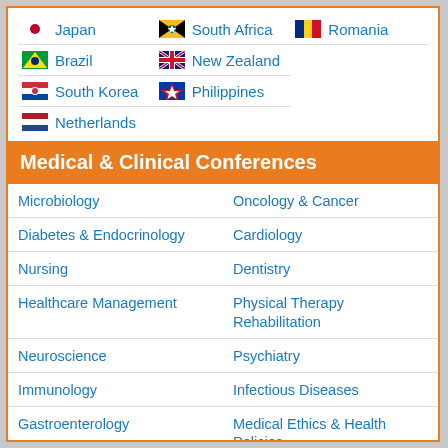Japan
South Africa
Romania
Brazil
New Zealand
South Korea
Philippines
Netherlands
Medical & Clinical Conferences
Microbiology
Oncology & Cancer
Diabetes & Endocrinology
Cardiology
Nursing
Dentistry
Healthcare Management
Physical Therapy Rehabilitation
Neuroscience
Psychiatry
Immunology
Infectious Diseases
Gastroenterology
Medical Ethics & Health Policies
Genetics & MolecularBiology
Palliativecare
Pathology